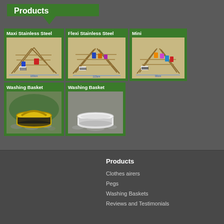Products
[Figure (photo): Maxi Stainless Steel clothes airer product image]
[Figure (photo): Flexi Stainless Steel clothes airer product image]
[Figure (photo): Mini clothes airer product image]
[Figure (photo): Washing Basket (green/yellow) product image]
[Figure (photo): Washing Basket (grey/white) product image]
Products
Clothes airers
Pegs
Washing Baskets
Reviews and Testimonials